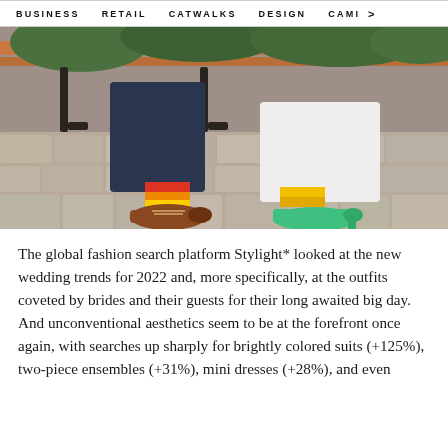BUSINESS   RETAIL   CATWALKS   DESIGN   CAMI  >
[Figure (photo): Close-up photo of two people sitting on a bench, showing their legs and feet. One person (groom) wears dark trousers with colorful striped socks (red, yellow, orange) and brown leather oxford shoes. The other person (bride) wears a white dress and green/teal heeled shoes. They are seated on a cobblestone or paved surface outdoors.]
The global fashion search platform Stylight* looked at the new wedding trends for 2022 and, more specifically, at the outfits coveted by brides and their guests for their long awaited big day. And unconventional aesthetics seem to be at the forefront once again, with searches up sharply for brightly colored suits (+125%), two-piece ensembles (+31%), mini dresses (+28%), and even